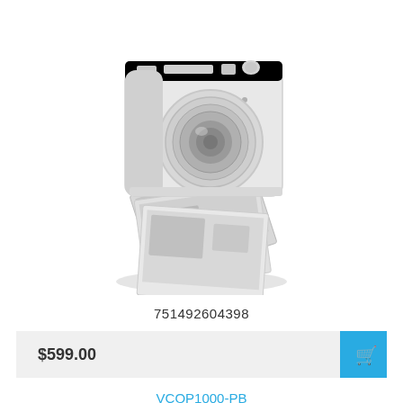[Figure (illustration): Stylized white camera with printed photos emerging from the bottom, rendered as a light gray illustration with subtle shadow]
751492604398
$599.00
VCQP1000-PB
[Figure (illustration): Partial view of a second white/silver camera product at the bottom of the page]